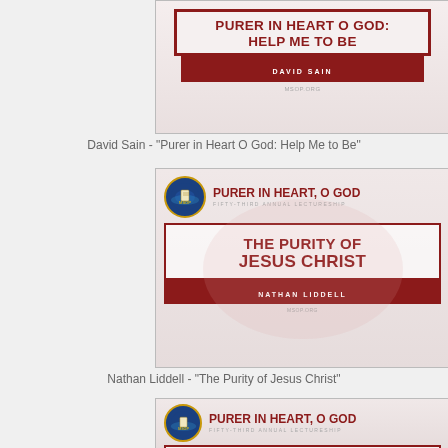[Figure (illustration): Book cover thumbnail: 'Purer in Heart O God: Help Me to Be' by David Sain, MSOP series]
David Sain - "Purer in Heart O God: Help Me to Be"
[Figure (illustration): Book cover thumbnail: 'The Purity of Jesus Christ' by Nathan Liddell, Purer in Heart O God Fifty-Third Annual Lectureship, MSOP series]
Nathan Liddell - "The Purity of Jesus Christ"
[Figure (illustration): Book cover thumbnail (partial): 'The Pure in Heart' series, Purer in Heart O God Fifty-Third Annual Lectureship, MSOP series]